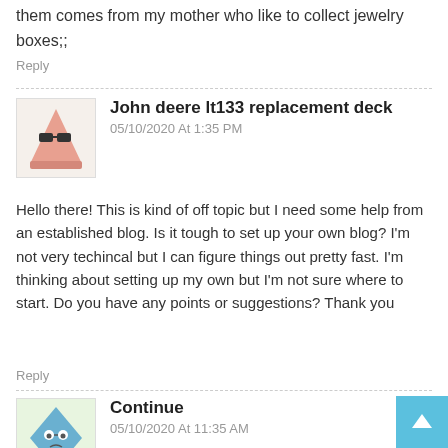them comes from my mother who like to collect jewelry boxes;;
Reply
John deere lt133 replacement deck
05/10/2020 At 1:35 PM
Hello there! This is kind of off topic but I need some help from an established blog. Is it tough to set up your own blog? I'm not very techincal but I can figure things out pretty fast. I'm thinking about setting up my own but I'm not sure where to start. Do you have any points or suggestions? Thank you
Reply
Continue
05/10/2020 At 11:35 AM
I intended to compose you one very little remark to give many thanks once again for your personal lovely advice